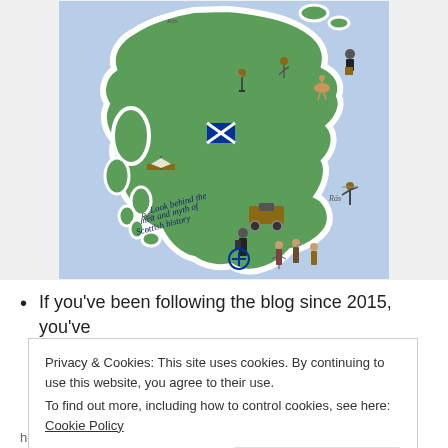[Figure (illustration): Illustrated map of Scotland with historical figures, ships, a Scottish flag, a stagecoach, warriors, and the text 'Look behind the mist and myth of Scottish history' written in the lower left of the map. The map has a light blue border and a green landmass.]
If you've been following the blog since 2015, you've
Privacy & Cookies: This site uses cookies. By continuing to use this website, you agree to their use.
To find out more, including how to control cookies, see here: Cookie Policy
Close and accept
honeymoon. Whilst out exploring the countryside, she